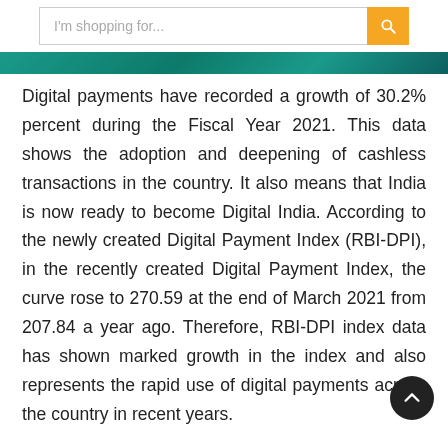I'm shopping for...
Digital payments have recorded a growth of 30.2% percent during the Fiscal Year 2021. This data shows the adoption and deepening of cashless transactions in the country. It also means that India is now ready to become Digital India. According to the newly created Digital Payment Index (RBI-DPI), in the recently created Digital Payment Index, the curve rose to 270.59 at the end of March 2021 from 207.84 a year ago. Therefore, RBI-DPI index data has shown marked growth in the index and also represents the rapid use of digital payments across the country in recent years.